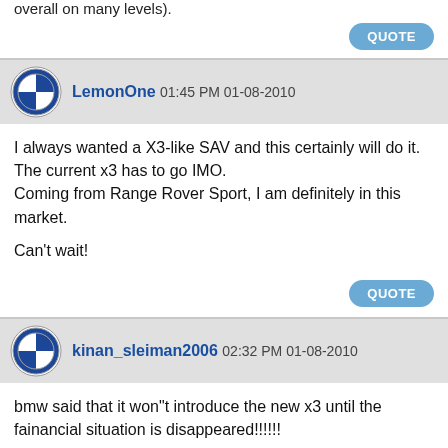overall on many levels).
QUOTE
LemonOne 01:45 PM 01-08-2010
I always wanted a X3-like SAV and this certainly will do it. The current x3 has to go IMO.
Coming from Range Rover Sport, I am definitely in this market.

Can't wait!
QUOTE
kinan_sleiman2006 02:32 PM 01-08-2010
bmw said that it won"t introduce the new x3 until the fainancial situation is disappeared!!!!!!!